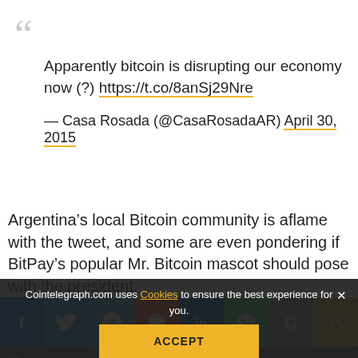“” (opening quote mark, decorative)
Apparently bitcoin is disrupting our economy now (?) https://t.co/8anSj29Nre
— Casa Rosada (@CasaRosadaAR) April 30, 2015
Argentina’s local Bitcoin community is aflame with the tweet, and some are even pondering if BitPay’s popular Mr. Bitcoin mascot should pose with the president.
Reg...
itself, it is very clear that even in a busy election year the government has some time to read the Bitcoin news. Whether or not the Casa Rosada has goodwill towards Bitcoin has to be e... one denies the
Cointelegraph.com uses Cookies to ensure the best experience for you.
ACCEPT